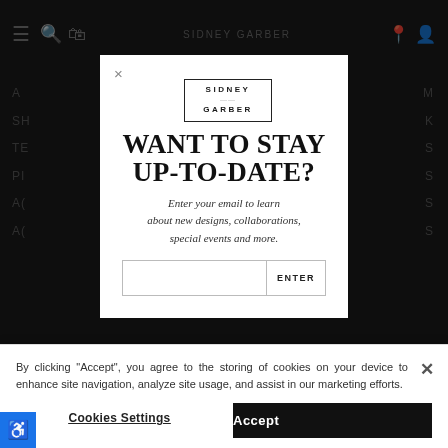[Figure (screenshot): Dark website background showing Sidney Garber navigation bar and partial menu links]
[Figure (screenshot): Modal popup with Sidney Garber logo, headline 'WANT TO STAY UP-TO-DATE?', subtext, and email input form]
WANT TO STAY UP-TO-DATE?
Enter your email to learn about new designs, collaborations, special events and more.
By clicking “Accept”, you agree to the storing of cookies on your device to enhance site navigation, analyze site usage, and assist in our marketing efforts.
Cookies Settings
Accept